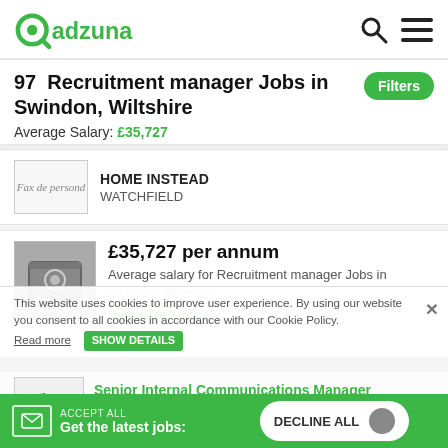adzuna — search icon, menu icon
97  Recruitment manager Jobs in Swindon, Wiltshire
Average Salary: £35,727
HOME INSTEAD
WATCHFIELD
£35,727 per annum
Average salary for Recruitment manager Jobs in Swindon, Wiltshire.
See more stats
This website uses cookies to improve user experience. By using our website you consent to all cookies in accordance with our Cookie Policy. Read more
SHOW DETAILS
Senior Internal Communications Manager
53,000 PA
NATIONAL TRUST
ACCEPT ALL — Get the latest jobs: | DECLINE ALL